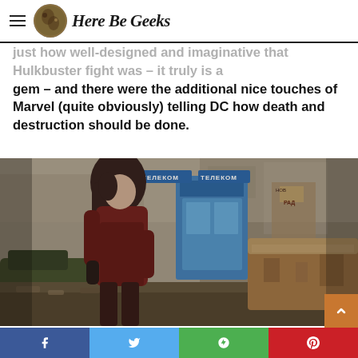Here Be Geeks
just how well-designed and imaginative that Hulkbuster fight was – it truly is a gem – and there were the additional nice touches of Marvel (quite obviously) telling DC how death and destruction should be done.
[Figure (photo): A woman with long dark hair in a dark red outfit stands in a destroyed urban environment. Behind her is a blue phone booth with Cyrillic text 'ТЕЛЕКОМ', graffiti-covered walls, debris and a rusted dumpster. Scene from a Marvel movie (Avengers: Age of Ultron - Scarlet Witch).]
Social share buttons: Facebook, Twitter, Google+, Pinterest